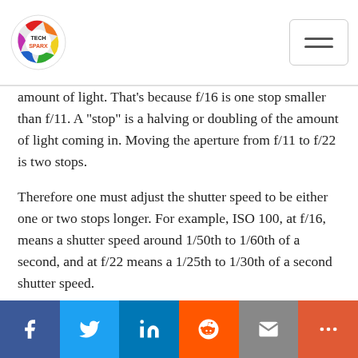Tech Sparx
amount of light. That's because f/16 is one stop smaller than f/11. A "stop" is a halving or doubling of the amount of light coming in. Moving the aperture from f/11 to f/22 is two stops.
Therefore one must adjust the shutter speed to be either one or two stops longer. For example, ISO 100, at f/16, means a shutter speed around 1/50th to 1/60th of a second, and at f/22 means a 1/25th to 1/30th of a second shutter speed.
Social share bar: Facebook, Twitter, LinkedIn, Reddit, Email, More